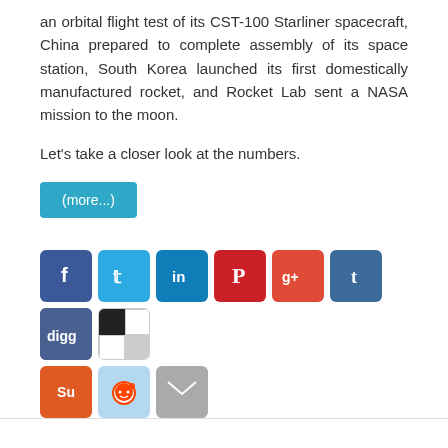an orbital flight test of its CST-100 Starliner spacecraft, China prepared to complete assembly of its space station, South Korea launched its first domestically manufactured rocket, and Rocket Lab sent a NASA mission to the moon.
Let's take a closer look at the numbers.
[Figure (other): (more...) button and social share icons: Facebook, Twitter, LinkedIn, Pinterest, Google+, Tumblr, Digg, Mix, StumbleUpon, Reddit, Email]
Officials Dedicate ISRO System for Safe & Sustainable Operations